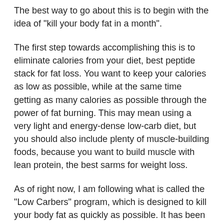The best way to go about this is to begin with the idea of "kill your body fat in a month".
The first step towards accomplishing this is to eliminate calories from your diet, best peptide stack for fat loss. You want to keep your calories as low as possible, while at the same time getting as many calories as possible through the power of fat burning. This may mean using a very light and energy-dense low-carb diet, but you should also include plenty of muscle-building foods, because you want to build muscle with lean protein, the best sarms for weight loss.
As of right now, I am following what is called the "Low Carbers" program, which is designed to kill your body fat as quickly as possible. It has been a huge success for me, and is very easy to follow, loss fat best for peptides and muscle growth. I can say that the majority of the readers here did just as